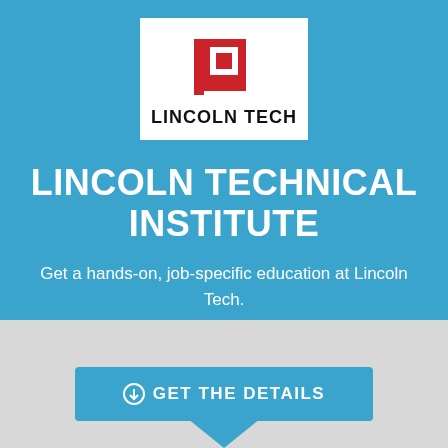[Figure (logo): Lincoln Tech logo: red geometric square bracket symbol above the text LINCOLN TECH in bold black letters on white background]
LINCOLN TECHNICAL INSTITUTE
Get a hands-on, job-specific education at Lincoln Tech.
⊙ GET THE DETAILS